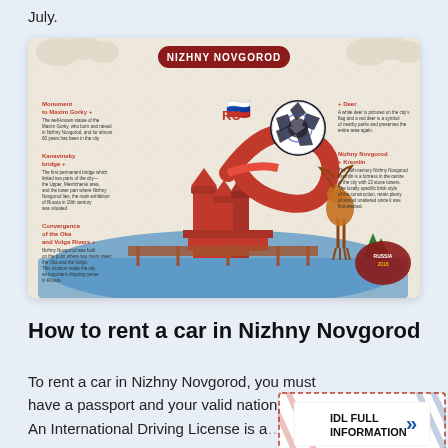July.
[Figure (infographic): Nizhny Novgorod FIFA World Cup 2018 infographic showing landmarks: Monument to Maxim Gorky, Kanavinsky bridge, Convergence of the Oka and Volga Rivers, Deer, Nizhny Novgorod Kremlin, with red dragon and FIFA World Cup ball logo]
How to rent a car in Nizhny Novgorod
To rent a car in Nizhny Novgorod, you must have a passport and your valid national d… An International Driving License is a… re
[Figure (infographic): IDL FULL INFORMATION envelope/card with chevron arrow]